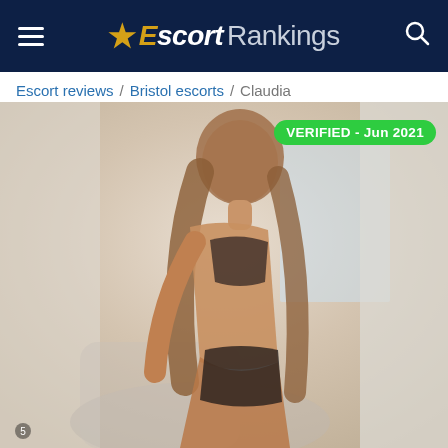Escort Rankings
Escort reviews / Bristol escorts / Claudia
[Figure (photo): Profile photo of Claudia, a woman with long wavy blonde-brown hair wearing dark lingerie, posed in a bright room with white curtains and a sofa. A green badge reads VERIFIED - Jun 2021 in the top right corner of the photo.]